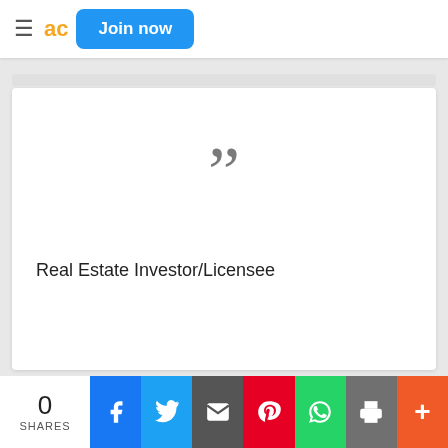ad  Join now
[Figure (other): Large grey closing double-quotation mark symbol centered in white card]
Real Estate Investor/Licensee
Contact
[Figure (infographic): Social share bar: 0 SHARES, Facebook, Twitter, Email, Pinterest, WhatsApp, Print, More buttons]